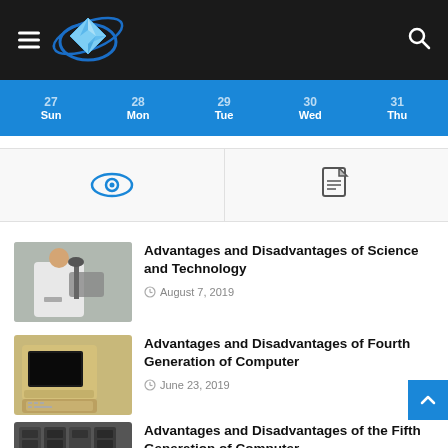Navigation header with logo and search icon
[Figure (screenshot): Website navigation bar with hamburger menu, brain/globe logo, and search icon on dark background]
[Figure (infographic): Calendar strip showing days: Sun, Mon, Tue, Wed, Thu with day numbers in blue]
[Figure (infographic): Two-cell icon row: eye icon (blue) on left, document icon on right]
[Figure (photo): Scientist looking through microscope in lab]
Advantages and Disadvantages of Science and Technology
August 7, 2019
[Figure (photo): Vintage beige computer with monitor and keyboard]
Advantages and Disadvantages of Fourth Generation of Computer
June 23, 2019
[Figure (photo): Old mainframe computer server room]
Advantages and Disadvantages of the Fifth Generation of Computer